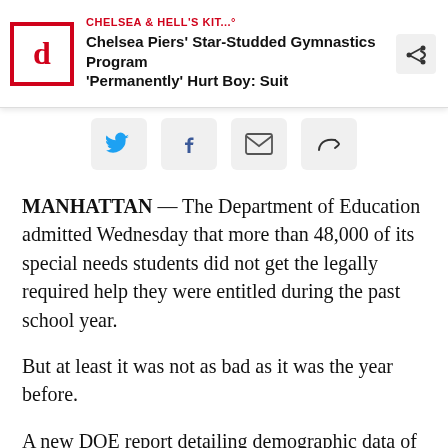CHELSEA & HELL'S KIT...° Chelsea Piers' Star-Studded Gymnastics Program 'Permanently' Hurt Boy: Suit
[Figure (infographic): Social sharing buttons: Twitter, Facebook, Email, Share]
MANHATTAN — The Department of Education admitted Wednesday that more than 48,000 of its special needs students did not get the legally required help they were entitled during the past school year.
But at least it was not as bad as it was the year before.
A new DOE report detailing demographic data of students with disabilities showed that approximately 27 percent of the roughly 193,000 students with disabilities were in schools that were not fully meeting their needs — like